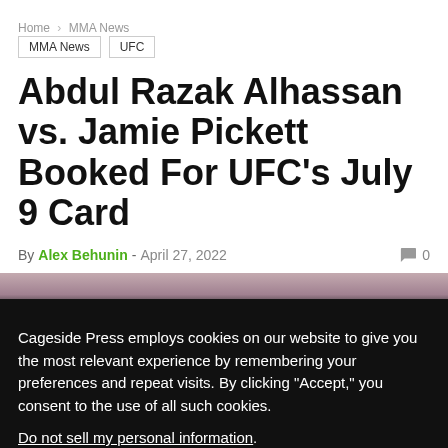Home > MMA News
MMA News
UFC
Abdul Razak Alhassan vs. Jamie Pickett Booked For UFC's July 9 Card
By Alex Behunin - April 27, 2022  0
Cageside Press employs cookies on our website to give you the most relevant experience by remembering your preferences and repeat visits. By clicking “Accept,” you consent to the use of all such cookies. Do not sell my personal information.
Cookie Settings  Accept